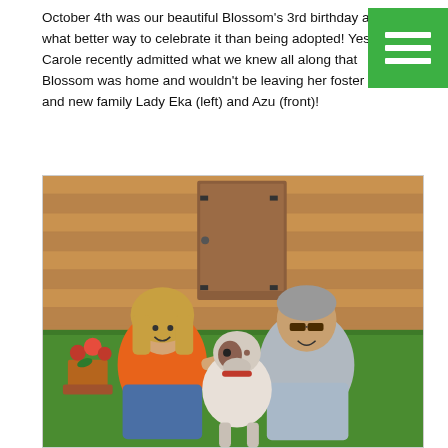October 4th was our beautiful Blossom's 3rd birthday and what better way to celebrate it than being adopted! Yes, Carole recently admitted what we knew all along that Blossom was home and wouldn't be leaving her foster home and new family Lady Eka (left) and Azu (front)!
[Figure (photo): A woman in an orange top and blue jeans and a man in a grey shirt crouching on green grass, both holding a brown and white greyhound dog in front of a wooden fence/shed. Red flowers in a pot visible on the left.]